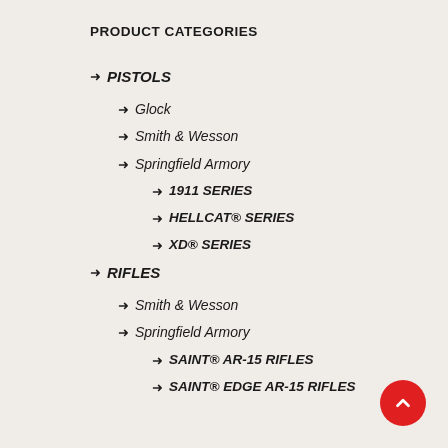PRODUCT CATEGORIES
PISTOLS
Glock
Smith & Wesson
Springfield Armory
1911 SERIES
HELLCAT® SERIES
XD® SERIES
RIFLES
Smith & Wesson
Springfield Armory
SAINT® AR-15 RIFLES
SAINT® EDGE AR-15 RIFLES